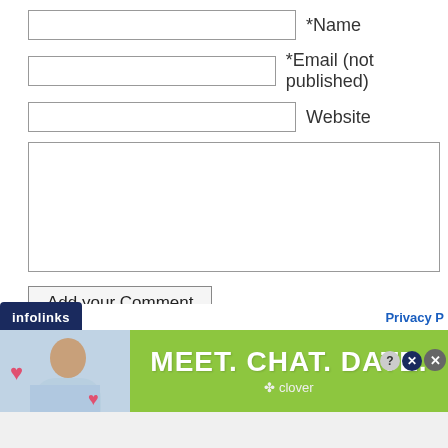*Name
*Email (not published)
Website
Add your Comment
[Figure (screenshot): infolinks logo bar with Privacy link]
[Figure (screenshot): Advertisement banner: MEET. CHAT. DATE. - clover app ad with woman photo on green background]